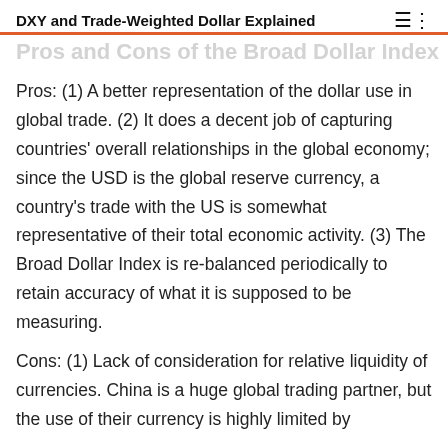DXY and Trade-Weighted Dollar Explained
Pros and Cons of the Broad Dollar Index
Pros: (1) A better representation of the dollar use in global trade. (2) It does a decent job of capturing countries' overall relationships in the global economy; since the USD is the global reserve currency, a country's trade with the US is somewhat representative of their total economic activity. (3) The Broad Dollar Index is re-balanced periodically to retain accuracy of what it is supposed to be measuring.
Cons: (1) Lack of consideration for relative liquidity of currencies. China is a huge global trading partner, but the use of their currency is highly limited by